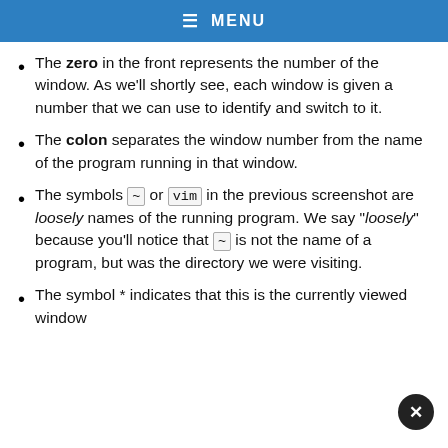MENU
The zero in the front represents the number of the window. As we'll shortly see, each window is given a number that we can use to identify and switch to it.
The colon separates the window number from the name of the program running in that window.
The symbols ~ or vim in the previous screenshot are loosely names of the running program. We say "loosely" because you'll notice that ~ is not the name of a program, but was the directory we were visiting.
The symbol * indicates that this is the currently viewed window